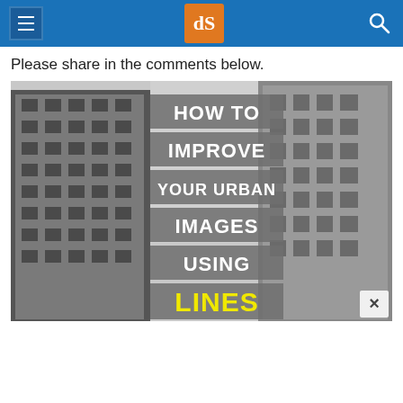dPS (digital Photography School) website header with menu icon, logo, and search icon
Please share in the comments below.
[Figure (photo): Black and white urban street scene with tall buildings on both sides. Overlaid bold text reads: HOW TO IMPROVE YOUR URBAN IMAGES USING LINES, with LINES in yellow. A close/dismiss button (×) appears in the bottom-right corner of the image.]